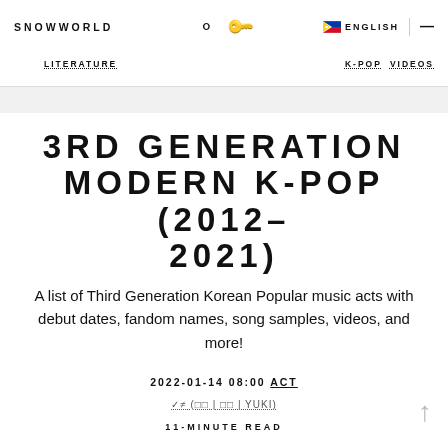SNOWWORLD | LITERATURE | K-POP | VIDEOS | ENGLISH | 11-MINUTE READ
3RD GENERATION MODERN K-POP (2012–2021)
A list of Third Generation Korean Popular music acts with debut dates, fandom names, song samples, videos, and more!
2022-01-14 08:00 ACT
✓≠ (□□ | □□ | YUKI)
11-MINUTE READ